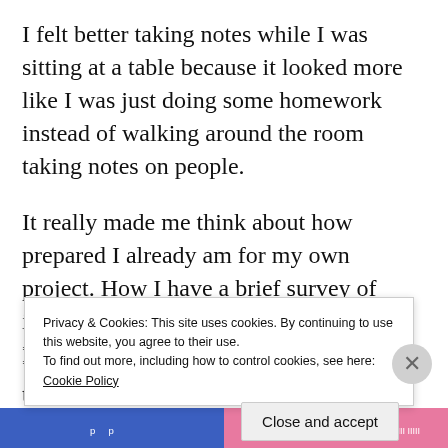I felt better taking notes while I was sitting at a table because it looked more like I was just doing some homework instead of walking around the room taking notes on people.
It really made me think about how prepared I already am for my own project. How I have a brief survey of information on my project page and how I am compiling a list of questions that I t
Privacy & Cookies: This site uses cookies. By continuing to use this website, you agree to their use.
To find out more, including how to control cookies, see here: Cookie Policy